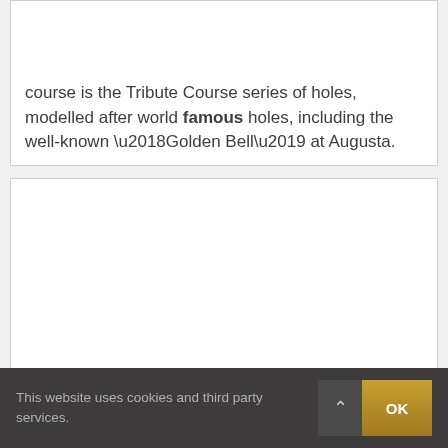course is the Tribute Course series of holes, modelled after world famous holes, including the well-known ‘Golden Bell’ at Augusta.
[Figure (other): White card/box placeholder area, empty content block]
This website uses cookies and third party services. OK